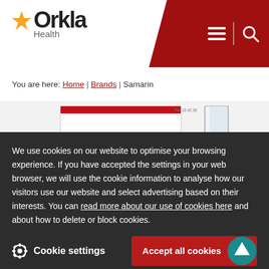[Figure (logo): Orkla Health logo with orange star and grey text]
You are here: Home | Brands | Samarin
[Figure (photo): Samarin product package (white box with red stripe) and a glass of water]
We use cookies on our website to optimise your browsing experience. If you have accepted the settings in your web browser, we will use the cookie information to analyse how our visitors use our website and select advertising based on their interests. You can read more about our use of cookies here and about how to delete or block cookies.